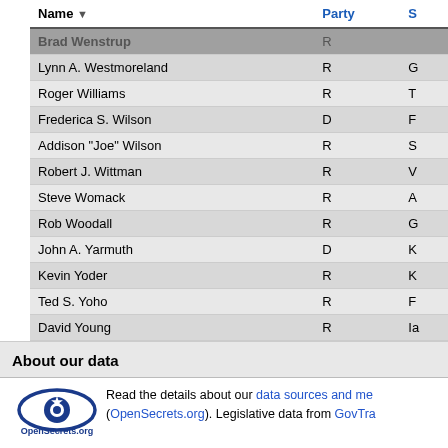| Name | Party | S |
| --- | --- | --- |
| Brad Wenstrup | R |  |
| Lynn A. Westmoreland | R | G |
| Roger Williams | R | T |
| Frederica S. Wilson | D | F |
| Addison "Joe" Wilson | R | S |
| Robert J. Wittman | R | V |
| Steve Womack | R | A |
| Rob Woodall | R | G |
| John A. Yarmuth | D | K |
| Kevin Yoder | R | K |
| Ted S. Yoho | R | F |
| David Young | R | Ia |
| Don Young | R | A |
| Todd Young | R | Il |
| Lee M. Zeldin | R | N |
| Ryan K. Zinke | R | M |
About our data
[Figure (logo): OpenSecrets.org logo — blue eye with star, text below]
Read the details about our data sources and me... (OpenSecrets.org). Legislative data from GovTra...